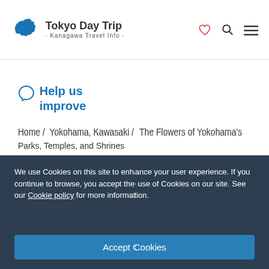Tokyo Day Trip · Kanagawa Travel Info ·
Help us improve
Home / Yokohama, Kawasaki / The Flowers of Yokohama's Parks, Temples, and Shrines
We use Cookies on this site to enhance your user experience. If you continue to browse, you accept the use of Cookies on our site. See our Cookie policy for more information.
Accept Cookies